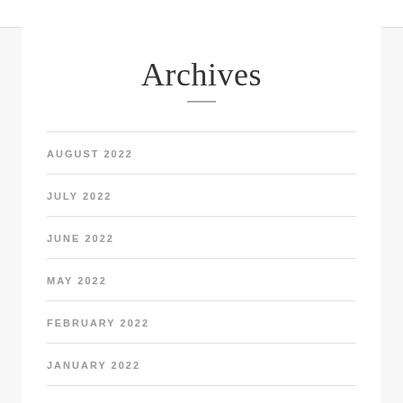Archives
AUGUST 2022
JULY 2022
JUNE 2022
MAY 2022
FEBRUARY 2022
JANUARY 2022
DECEMBER 2021
NOVEMBER 2021